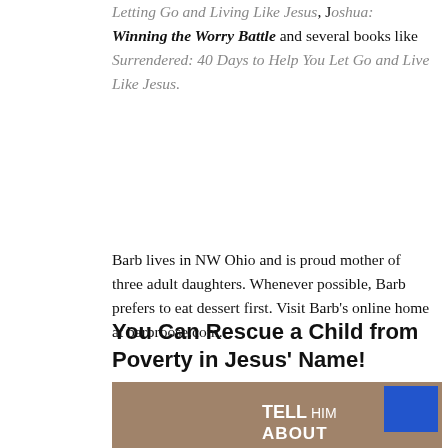Letting Go and Living Like Jesus, Joshua: Winning the Worry Battle and several books like Surrendered: 40 Days to Help You Let Go and Live Like Jesus.
Barb lives in NW Ohio and is proud mother of three adult daughters. Whenever possible, Barb prefers to eat dessert first. Visit Barb's online home at barbroose.com.
You Can Rescue a Child from Poverty in Jesus' Name!
[Figure (photo): Close-up photo of a young African child with text overlay reading 'TELL HIM ABOUT' and a blue square in the top right corner.]